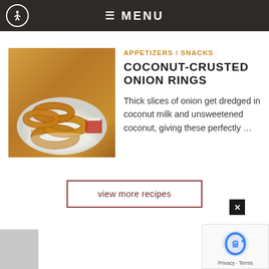≡ MENU
[Figure (photo): Photo of coconut-crusted onion rings piled on a white plate with dipping sauce on a wooden table]
APPETIZERS / SNACKS
COCONUT-CRUSTED ONION RINGS
Thick slices of onion get dredged in coconut milk and unsweetened coconut, giving these perfectly …
view more recipes
[Figure (logo): Google reCAPTCHA badge with logo and Privacy - Terms text]